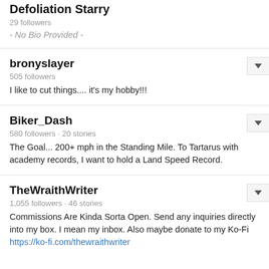Defoliation Starry
29 followers
- No Bio Provided -
bronyslayer
505 followers
I like to cut things.... it's my hobby!!!
Biker_Dash
580 followers · 20 stories
The Goal... 200+ mph in the Standing Mile. To Tartarus with academy records, I want to hold a Land Speed Record.
TheWraithWriter
1,055 followers · 46 stories
Commissions Are Kinda Sorta Open. Send any inquiries directly into my box. I mean my inbox. Also maybe donate to my Ko-Fi https://ko-fi.com/thewraithwriter